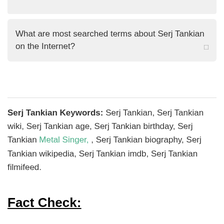What are most searched terms about Serj Tankian on the Internet?
Serj Tankian Keywords: Serj Tankian, Serj Tankian wiki, Serj Tankian age, Serj Tankian birthday, Serj Tankian Metal Singer, , Serj Tankian biography, Serj Tankian wikipedia, Serj Tankian imdb, Serj Tankian filmifeed.
Fact Check: